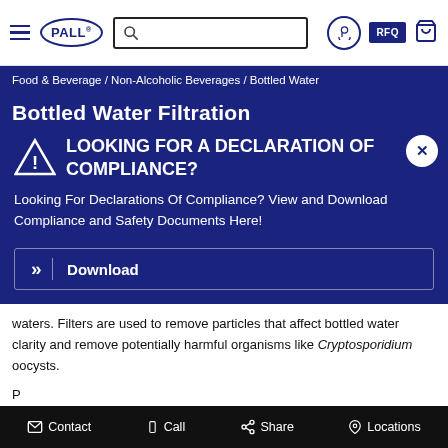PALL — Navigation bar with hamburger menu, logo, search, RFQ, cart icons
Food & Beverage / Non-Alcoholic Beverages / Bottled Water
Bottled Water Filtration
LOOKING FOR A DECLARATION OF COMPLIANCE?
Looking For Declarations Of Compliance? View and Download Compliance and Safety Documents Here!
Download
waters. Filters are used to remove particles that affect bottled water clarity and remove potentially harmful organisms like Cryptosporidium oocysts.
Contact   Call   Share   Locations